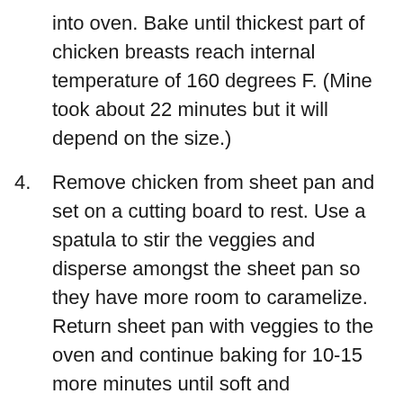into oven. Bake until thickest part of chicken breasts reach internal temperature of 160 degrees F. (Mine took about 22 minutes but it will depend on the size.)
4. Remove chicken from sheet pan and set on a cutting board to rest. Use a spatula to stir the veggies and disperse amongst the sheet pan so they have more room to caramelize. Return sheet pan with veggies to the oven and continue baking for 10-15 more minutes until soft and caramelized. Remove from oven.
5. Slice chicken in about 1/4 inch pieces, on the diagonal, once veggies come out of oven. Sprinkle chicken with a bit of flaky salt, then add